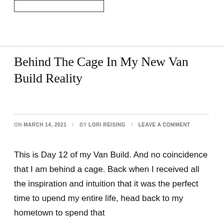Behind The Cage In My New Van Build Reality
ON MARCH 14, 2021 / BY LORI REISING / LEAVE A COMMENT
This is Day 12 of my Van Build. And no coincidence that I am behind a cage. Back when I received all the inspiration and intuition that it was the perfect time to upend my entire life, head back to my hometown to spend that